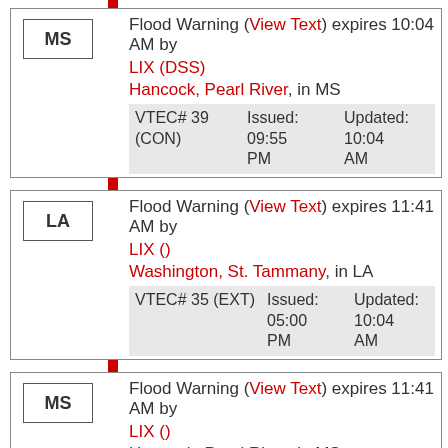MS Flood Warning (View Text) expires 10:04 AM by LIX (DSS) Hancock, Pearl River, in MS VTEC# 39 (CON) Issued: 09:55 PM Updated: 10:04 AM
LA Flood Warning (View Text) expires 11:41 AM by LIX () Washington, St. Tammany, in LA VTEC# 35 (EXT) Issued: 05:00 PM Updated: 10:04 AM
MS Flood Warning (View Text) expires 11:41 AM by LIX () Hancock, Pearl River, in MS VTEC# 35 (EXT) Issued: 05:00 PM Updated: 10:04 AM